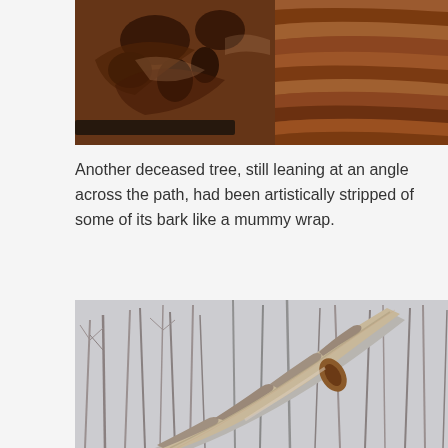[Figure (photo): Close-up photo of a deceased tree with rotting, hollowed-out wood showing cavities and peeling layers of brown wood fiber]
Another deceased tree, still leaning at an angle across the path, had been artistically stripped of some of its bark like a mummy wrap.
[Figure (photo): Photo of a dead tree leaning diagonally across a forest path, with its bark stripped in a spiral mummy-wrap pattern, bare winter trees in the background]